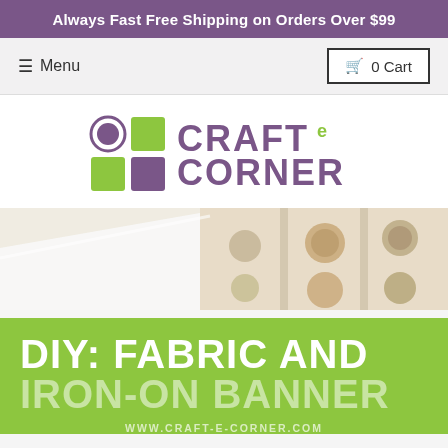Always Fast Free Shipping on Orders Over $99
≡ Menu
🛒 0 Cart
[Figure (logo): Craft-e Corner logo with purple and green squares and stylized text]
[Figure (photo): Photo of a wooden shelf unit holding craft/yarn items]
DIY: FABRIC AND IRON-ON BANNER
WWW.CRAFT-E-CORNER.COM